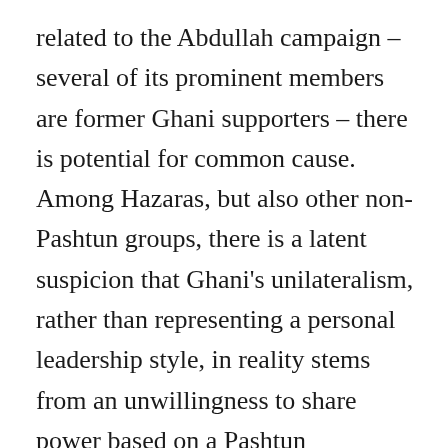related to the Abdullah campaign – several of its prominent members are former Ghani supporters – there is potential for common cause. Among Hazaras, but also other non-Pashtun groups, there is a latent suspicion that Ghani's unilateralism, rather than representing a personal leadership style, in reality stems from an unwillingness to share power based on a Pashtun nationalist outlook. There is also a strand among Tajiks and Hazaras (although among Tajiks seemingly more limited to the political elites than among the Hazaras) that views the current period as a unique historical opportunity to finally establish a political system